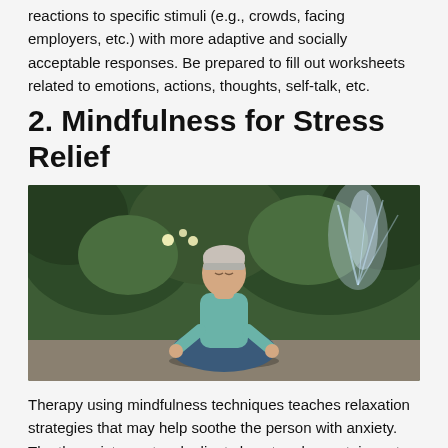reactions to specific stimuli (e.g., crowds, facing employers, etc.) with more adaptive and socially acceptable responses. Be prepared to fill out worksheets related to emotions, actions, thoughts, self-talk, etc.
2. Mindfulness for Stress Relief
[Figure (photo): A middle-aged woman with short light hair wearing a teal shirt and blue pants, sitting cross-legged in a meditation pose outdoors in a lush garden setting with a water fountain spraying in the background.]
Therapy using mindfulness techniques teaches relaxation strategies that may help soothe the person with anxiety. The therapist may teach clients how to relax certain parts